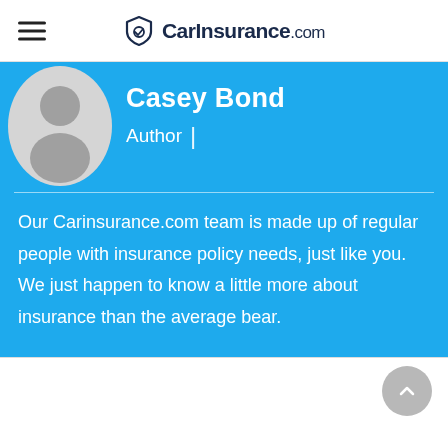CarInsurance.com
Casey Bond
Author |
Our Carinsurance.com team is made up of regular people with insurance policy needs, just like you. We just happen to know a little more about insurance than the average bear.